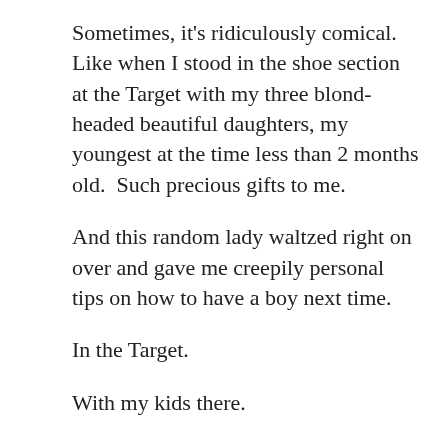Sometimes, it's ridiculously comical.  Like when I stood in the shoe section at the Target with my three blond-headed beautiful daughters, my youngest at the time less than 2 months old.  Such precious gifts to me.
And this random lady waltzed right on over and gave me creepily personal tips on how to have a boy next time.
In the Target.
With my kids there.
And I didn't know her.
Good gravy.
Or when people see my beloved little boy and say